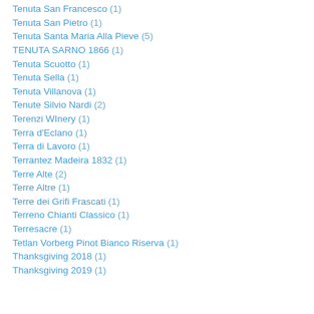Tenuta San Francesco (1)
Tenuta San Pietro (1)
Tenuta Santa Maria Alla Pieve (5)
TENUTA SARNO 1866 (1)
Tenuta Scuotto (1)
Tenuta Sella (1)
Tenuta Villanova (1)
Tenute Silvio Nardi (2)
Terenzi WInery (1)
Terra d'Eclano (1)
Terra di Lavoro (1)
Terrantez Madeira 1832 (1)
Terre Alte (2)
Terre Altre (1)
Terre dei Grifi Frascati (1)
Terreno Chianti Classico (1)
Terresacre (1)
Tetlan Vorberg Pinot Bianco Riserva (1)
Thanksgiving 2018 (1)
Thanksgiving 2019 (1)